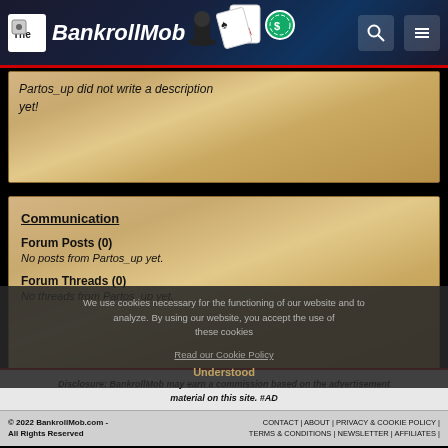The BankrollMob
Partos_up did not write a description yet!
Communication
Forum Posts (0)
No posts from Partos_up yet.
Forum Threads (0)
No threads from Partos_up yet.
We use cookies necessary for the functioning of our website and to analyze. By using our website, you accept the use of these cookies
Read our Cookie Policy
Understood
Disclosure: BankrollMob may earn a commission based on the advertisement material on this site. #AD
© 2022 BankrollMob.com - All Rights Reserved | CONTACT | ABOUT | PRIVACY & COOKIE POLICY | TERMS & CONDITIONS | NEWSLETTER | AFFILIATES |